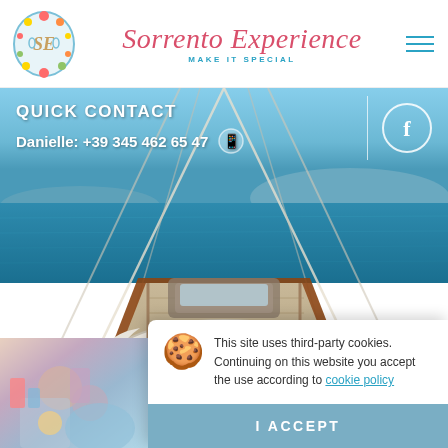[Figure (logo): Sorrento Experience decorative crest logo with fruits and sea elements]
Sorrento Experience — MAKE IT SPECIAL
[Figure (photo): Luxury yacht deck with circular white seating and food spread, blue Mediterranean sea in background]
QUICK CONTACT
Danielle: +39 345 462 65 47
[Figure (photo): Partial view of colorful beach scene at bottom left]
This site uses third-party cookies. Continuing on this website you accept the use according to cookie policy
I ACCEPT